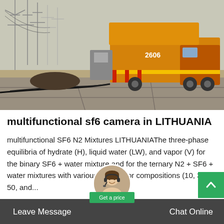[Figure (photo): Yellow service truck with equipment parked at an electrical substation with transmission towers in the background. Ground is dry/sandy with paved concrete slabs and cables on the ground.]
multifunctional sf6 camera in LITHUANIA
multifunctional SF6 N2 Mixtures LITHUANIAThe three-phase equilibria of hydrate (H), liquid water (LW), and vapor (V) for the binary SF6 + water mixture and for the ternary N2 + SF6 + water mixtures with various SF6 vapor compositions (10, 30, 50, and...
Leave Message   Chat Online